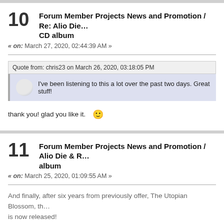10 Forum Member Projects News and Promotion / Re: Alio Die… CD album
« on: March 27, 2020, 02:44:39 AM »
Quote from: chris23 on March 26, 2020, 03:18:05 PM
I've been listening to this a lot over the past two days. Great stuff!
thank you! glad you like it. 🙂
11 Forum Member Projects News and Promotion / Alio Die & R… album
« on: March 25, 2020, 01:09:55 AM »
And finally, after six years from previously offer, The Utopian Blossom, th… is now released!
The CD version in a lovely 6 sides digipack will coming soon! Pre-order…
https://aliodie.bandcamp.com/album/the-utopian-blossom